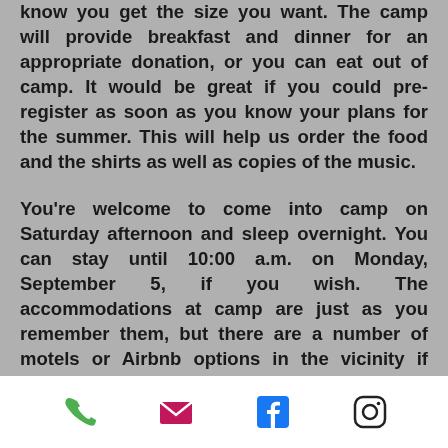know you get the size you want. The camp will provide breakfast and dinner for an appropriate donation, or you can eat out of camp. It would be great if you could pre-register as soon as you know your plans for the summer. This will help us order the food and the shirts as well as copies of the music.

You're welcome to come into camp on Saturday afternoon and sleep overnight. You can stay until 10:00 a.m. on Monday, September 5, if you wish. The accommodations at camp are just as you remember them, but there are a number of motels or Airbnb options in the vicinity if you're not up to staying in camp. We do caution you that it is Labor Day weekend and likely to be busy for the motels. Don't wait to make a reservation.
[phone icon] [email icon] [facebook icon] [instagram icon]